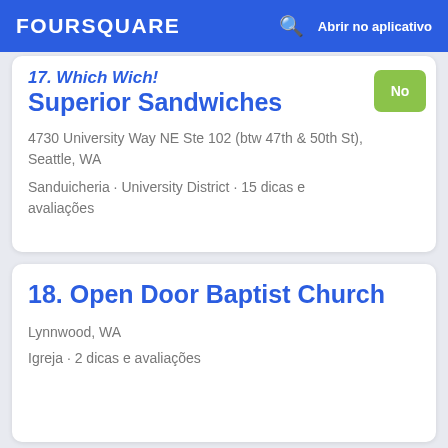FOURSQUARE  🔍  Abrir no aplicativo
17. Which Wich! Superior Sandwiches
4730 University Way NE Ste 102 (btw 47th & 50th St), Seattle, WA
Sanduicheria · University District · 15 dicas e avaliações
18. Open Door Baptist Church
Lynnwood, WA
Igreja · 2 dicas e avaliações
[Figure (photo): Photo of a gas station with blue canopy and green stripe, billboard signs on left and right, mascot bear figure, OPEN signs in green, outdoor daytime scene]